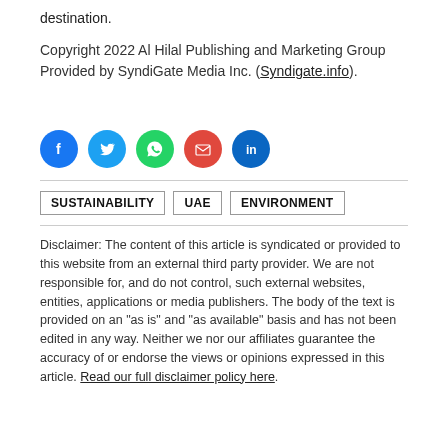destination.
Copyright 2022 Al Hilal Publishing and Marketing Group
Provided by SyndiGate Media Inc. (Syndigate.info).
[Figure (infographic): Five social media share icons in a row: Facebook (blue circle with f), Twitter (blue circle with bird), WhatsApp (green circle with phone), Email (red/pink circle with envelope), LinkedIn (blue circle with in)]
SUSTAINABILITY   UAE   ENVIRONMENT
Disclaimer: The content of this article is syndicated or provided to this website from an external third party provider. We are not responsible for, and do not control, such external websites, entities, applications or media publishers. The body of the text is provided on an "as is" and "as available" basis and has not been edited in any way. Neither we nor our affiliates guarantee the accuracy of or endorse the views or opinions expressed in this article. Read our full disclaimer policy here.